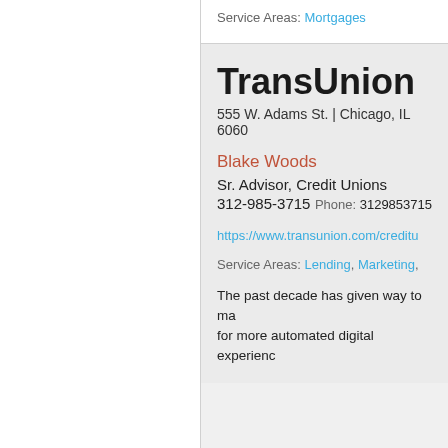Service Areas: Mortgages
TransUnion
555 W. Adams St. | Chicago, IL 6060...
Blake Woods
Sr. Advisor, Credit Unions
312-985-3715
Phone: 3129853715
https://www.transunion.com/creditu...
Service Areas: Lending, Marketing, ...
The past decade has given way to ma... for more automated digital experienc...